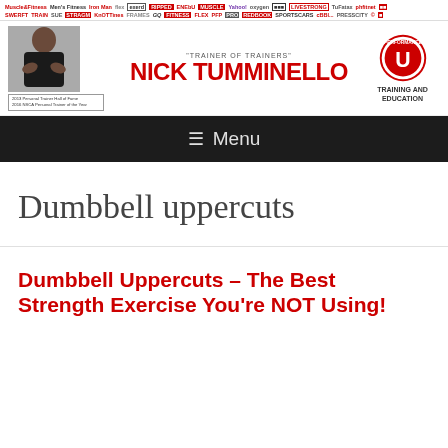[Figure (screenshot): Media logos bar with various fitness/health publication logos including Muscle & Fitness, Men's Fitness, Iron Man, Train, Shape, GQ, Flex, and many others in two rows]
[Figure (logo): Nick Tumminello site header with trainer photo, 'Trainer of Trainers' tagline, site name NICK TUMMINELLO in red bold text, and Performance U Training and Education logo]
≡ Menu
Dumbbell uppercuts
Dumbbell Uppercuts – The Best Strength Exercise You're NOT Using!